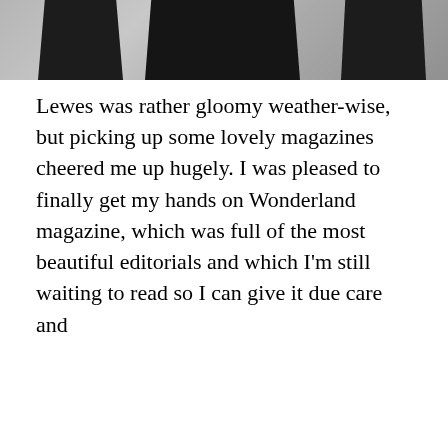[Figure (photo): Partial photo showing the lower body/legs of a person in dark clothing, cropped at the top of the page]
Lewes was rather gloomy weather-wise, but picking up some lovely magazines cheered me up hugely. I was pleased to finally get my hands on Wonderland magazine, which was full of the most beautiful editorials and which I'm still waiting to read so I can give it due care and
Privacy & Cookies: This site uses cookies. By continuing to use this website, you agree to their use.
To find out more, including how to control cookies, see here: Cookie Policy
Close and accept
I knew from Twitter. Exciting times!